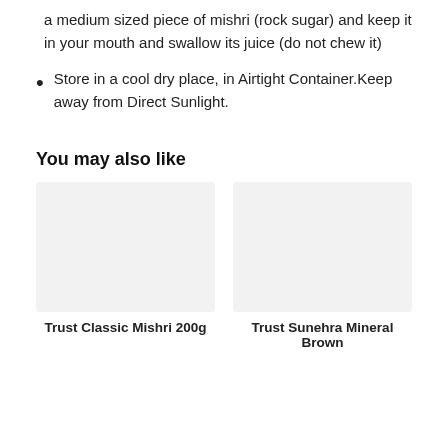a medium sized piece of mishri (rock sugar) and keep it in your mouth and swallow its juice (do not chew it)
Store in a cool dry place, in Airtight Container.Keep away from Direct Sunlight.
You may also like
[Figure (photo): Product image placeholder for Trust Classic Mishri 200g]
[Figure (photo): Product image placeholder for Trust Sunehra Mineral Brown]
Trust Classic Mishri 200g
Trust Sunehra Mineral Brown